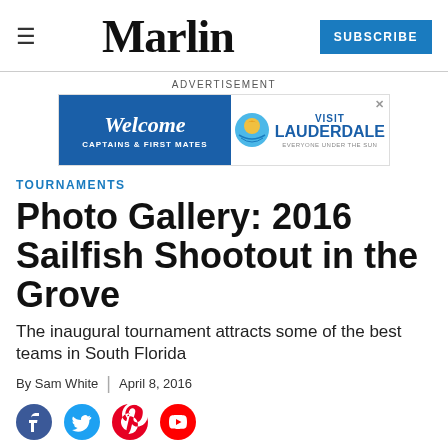Marlin
[Figure (infographic): Advertisement banner: Welcome Captains & First Mates | Visit Lauderdale Everyone Under the Sun]
TOURNAMENTS
Photo Gallery: 2016 Sailfish Shootout in the Grove
The inaugural tournament attracts some of the best teams in South Florida
By Sam White | April 8, 2016